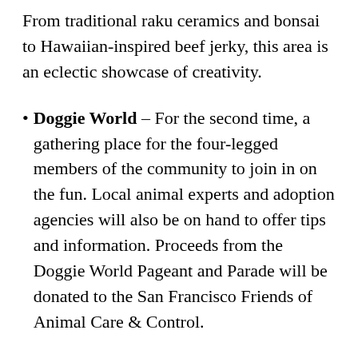From traditional raku ceramics and bonsai to Hawaiian-inspired beef jerky, this area is an eclectic showcase of creativity.
Doggie World – For the second time, a gathering place for the four-legged members of the community to join in on the fun. Local animal experts and adoption agencies will also be on hand to offer tips and information. Proceeds from the Doggie World Pageant and Parade will be donated to the San Francisco Friends of Animal Care & Control.
Food Fest. — One of the core values of